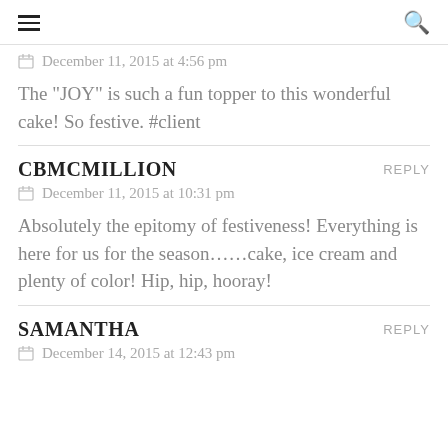≡  🔍
December 11, 2015 at 4:56 pm
The "JOY" is such a fun topper to this wonderful cake! So festive. #client
CBMCMILLION
REPLY
December 11, 2015 at 10:31 pm
Absolutely the epitomy of festiveness! Everything is here for us for the season……cake, ice cream and plenty of color! Hip, hip, hooray!
SAMANTHA
REPLY
December 14, 2015 at 12:43 pm